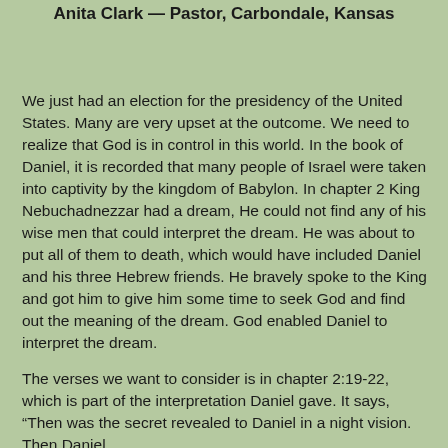Anita Clark — Pastor, Carbondale, Kansas
We just had an election for the presidency of the United States. Many are very upset at the outcome. We need to realize that God is in control in this world. In the book of Daniel, it is recorded that many people of Israel were taken into captivity by the kingdom of Babylon. In chapter 2 King Nebuchadnezzar had a dream, He could not find any of his wise men that could interpret the dream. He was about to put all of them to death, which would have included Daniel and his three Hebrew friends. He bravely spoke to the King and got him to give him some time to seek God and find out the meaning of the dream. God enabled Daniel to interpret the dream.
The verses we want to consider is in chapter 2:19-22, which is part of the interpretation Daniel gave. It says, “Then was the secret revealed to Daniel in a night vision. Then Daniel